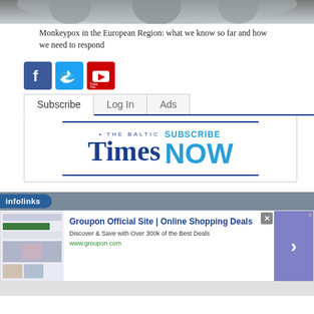[Figure (photo): Medical workers in scrubs and masks — top portion visible]
Monkeypox in the European Region: what we know so far and how we need to respond
[Figure (infographic): Social media icons: Facebook (blue), Twitter (light blue), YouTube (red)]
[Figure (infographic): Navigation tabs: Subscribe (active), Log In, Ads. Below: The Baltic Times SUBSCRIBE NOW banner with blue horizontal rules.]
[Figure (infographic): Infolinks ad bar with Groupon ad: 'Groupon Official Site | Online Shopping Deals — Discover & Save with Over 300k of the Best Deals — www.groupon.com' with thumbnail images and arrow button]